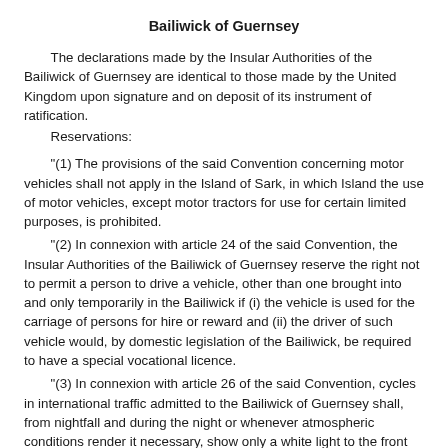Bailiwick of Guernsey
The declarations made by the Insular Authorities of the Bailiwick of Guernsey are identical to those made by the United Kingdom upon signature and on deposit of its instrument of ratification.
    Reservations:

    "(1) The provisions of the said Convention concerning motor vehicles shall not apply in the Island of Sark, in which Island the use of motor vehicles, except motor tractors for use for certain limited purposes, is prohibited.
    "(2) In connexion with article 24 of the said Convention, the Insular Authorities of the Bailiwick of Guernsey reserve the right not to permit a person to drive a vehicle, other than one brought into and only temporarily in the Bailiwick if (i) the vehicle is used for the carriage of persons for hire or reward and (ii) the driver of such vehicle would, by domestic legislation of the Bailiwick, be required to have a special vocational licence.
    "(3) In connexion with article 26 of the said Convention, cycles in international traffic admitted to the Bailiwick of Guernsey shall, from nightfall and during the night or whenever atmospheric conditions render it necessary, show only a white light to the front and show to the rear a red reflex reflector, in accordance with the domestic legislation of the Bailiwick."